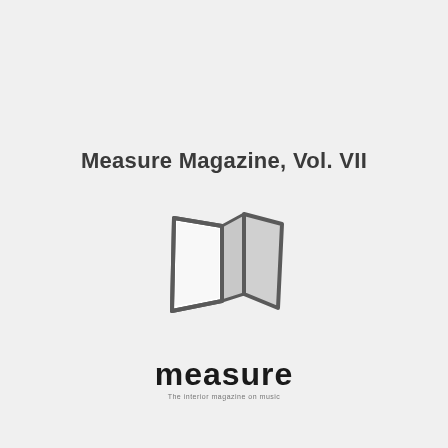Measure Magazine, Vol. VII
[Figure (logo): Open book / magazine icon with two pages fanned open, rendered in gray tones]
[Figure (logo): Measure magazine logo: bold lowercase 'measure' text with tagline 'The interior magazine on music']